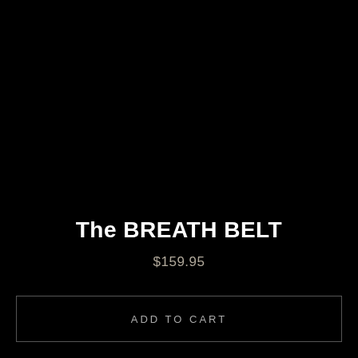The BREATH BELT
$159.95
ADD TO CART